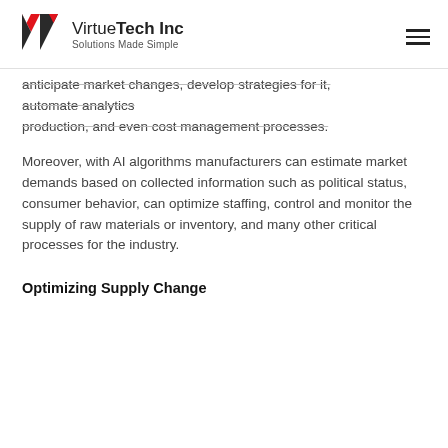VirtueTech Inc — Solutions Made Simple
anticipate market changes, develop strategies for it, automate analytics production, and even cost management processes.
Moreover, with AI algorithms manufacturers can estimate market demands based on collected information such as political status, consumer behavior, can optimize staffing, control and monitor the supply of raw materials or inventory, and many other critical processes for the industry.
Optimizing Supply Change